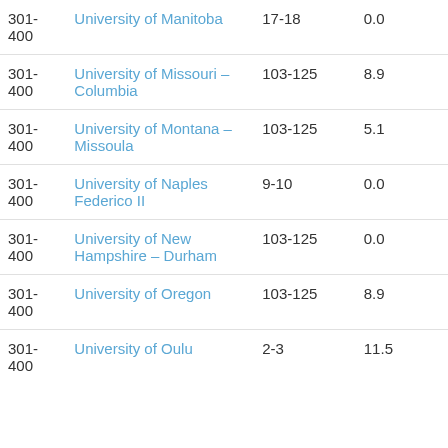| Rank | University | Range | Score |
| --- | --- | --- | --- |
| 301-400 | University of Manitoba | 17-18 | 0.0 |
| 301-400 | University of Missouri – Columbia | 103-125 | 8.9 |
| 301-400 | University of Montana – Missoula | 103-125 | 5.1 |
| 301-400 | University of Naples Federico II | 9-10 | 0.0 |
| 301-400 | University of New Hampshire – Durham | 103-125 | 0.0 |
| 301-400 | University of Oregon | 103-125 | 8.9 |
| 301-400 | University of Oulu | 2-3 | 11.5 |